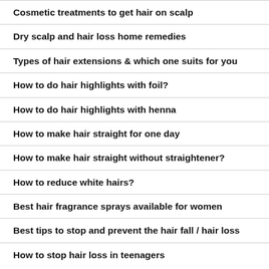Cosmetic treatments to get hair on scalp
Dry scalp and hair loss home remedies
Types of hair extensions & which one suits for you
How to do hair highlights with foil?
How to do hair highlights with henna
How to make hair straight for one day
How to make hair straight without straightener?
How to reduce white hairs?
Best hair fragrance sprays available for women
Best tips to stop and prevent the hair fall / hair loss
How to stop hair loss in teenagers